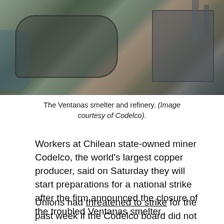[Figure (photo): Aerial photograph of the Ventanas smelter and refinery industrial facility, showing roads, buildings, chimneys, and water nearby.]
The Ventanas smelter and refinery. (Image courtesy of Codelco).
Workers at Chilean state-owned miner Codelco, the world's largest copper producer, said on Saturday they will start preparations for a national strike after the firm announced the closure of the troubled Ventanas smelter.
Unions had threatened to strike for the past week if the Codelco board did not invest to upgrade the facility after an